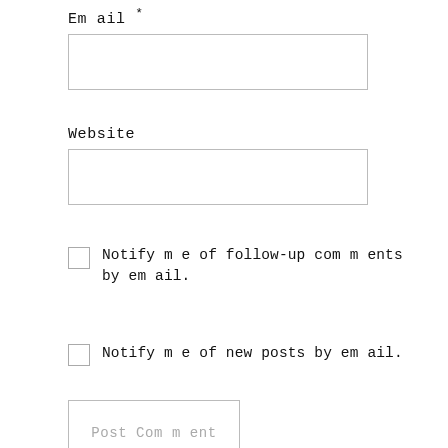Email *
Website
Notify me of follow-up comments by email.
Notify me of new posts by email.
Post Comment